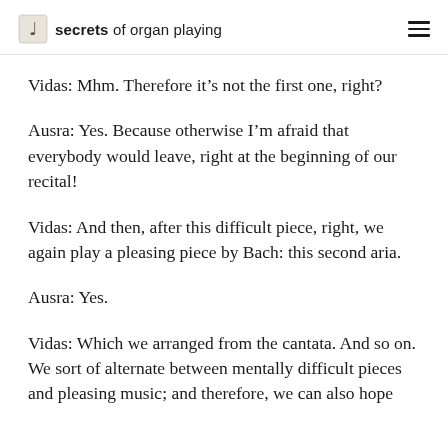secrets of organ playing
Vidas: Mhm. Therefore it’s not the first one, right?
Ausra: Yes. Because otherwise I’m afraid that everybody would leave, right at the beginning of our recital!
Vidas: And then, after this difficult piece, right, we again play a pleasing piece by Bach: this second aria.
Ausra: Yes.
Vidas: Which we arranged from the cantata. And so on. We sort of alternate between mentally difficult pieces and pleasing music; and therefore, we can also hope